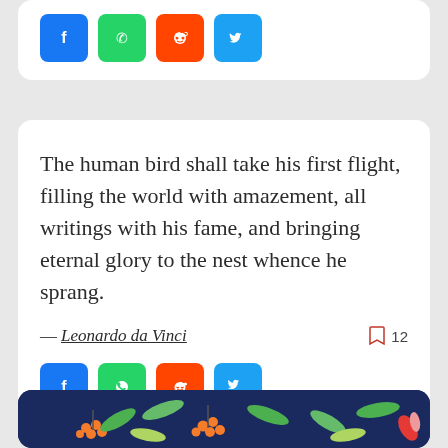[Figure (other): Social share buttons (Facebook, WhatsApp, Reddit, Twitter) at top of page, partial card visible]
The human bird shall take his first flight, filling the world with amazement, all writings with his fame, and bringing eternal glory to the nest whence he sprang.
— Leonardo da Vinci  12
[Figure (other): Social share buttons row: Facebook (blue), WhatsApp (green), Reddit (orange), Twitter (light blue)]
[Figure (illustration): Partial decorative illustration with colorful flowers and leaves on a dark navy background, visible at bottom of page]